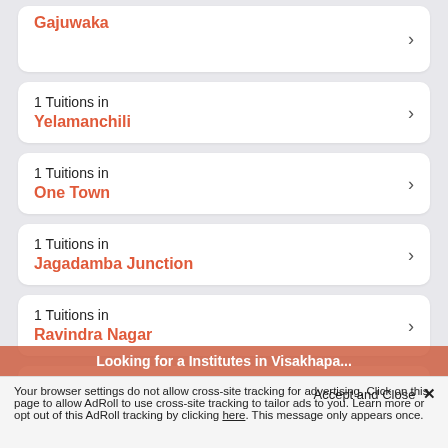Gajuwaka
1 Tuitions in
Yelamanchili
1 Tuitions in
One Town
1 Tuitions in
Jagadamba Junction
1 Tuitions in
Ravindra Nagar
1 Tuitions in
Looking for a Institutes in Visakhapa...
Accept and Close ✕
Your browser settings do not allow cross-site tracking for advertising. Click on this page to allow AdRoll to use cross-site tracking to tailor ads to you. Learn more or opt out of this AdRoll tracking by clicking here. This message only appears once.